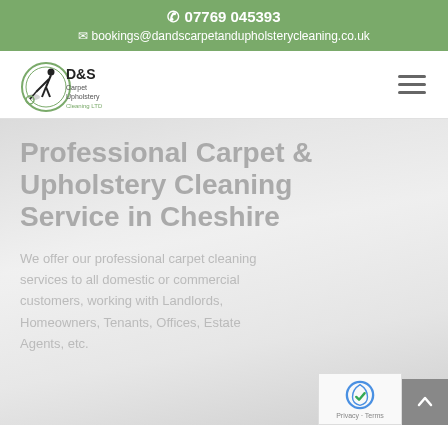📞 07769 045393
✉ bookings@dandscarpetandupholsterycleaning.co.uk
[Figure (logo): D&S Carpet Upholstery Cleaning LTD logo with silhouette of person cleaning]
Professional Carpet & Upholstery Cleaning Service in Cheshire
We offer our professional carpet cleaning services to all domestic or commercial customers, working with Landlords, Homeowners, Tenants, Offices, Estate Agents, etc.